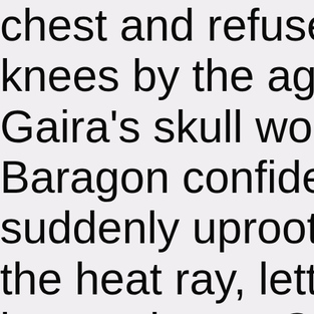chest and refused to die! knees by the agony. But Gaira's skull would not le Baragon confidently surg suddenly uprooted a redw the heat ray, letting the tr in surprise as Gaira used weapon and swiped it lik